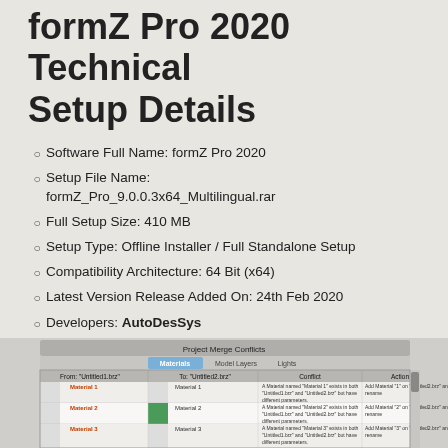formZ Pro 2020 Technical Setup Details
Software Full Name: formZ Pro 2020
Setup File Name: formZ_Pro_9.0.0.3x64_Multilingual.rar
Full Setup Size: 410 MB
Setup Type: Offline Installer / Full Standalone Setup
Compatibility Architecture: 64 Bit (x64)
Latest Version Release Added On: 24th Feb 2020
Developers: AutoDesSys
[Figure (screenshot): formZ Pro Project Merge Conflicts dialog screenshot showing Materials, Model Layers, Lights tabs with a table of conflicts between Untitled1.brz and Untitled2.brz files listing Material 1, Material 2, Material 3 conflicts and corresponding actions.]